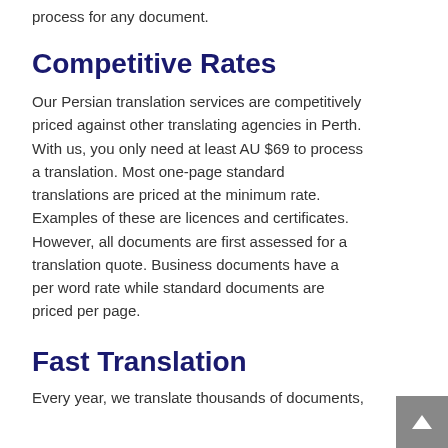process for any document.
Competitive Rates
Our Persian translation services are competitively priced against other translating agencies in Perth. With us, you only need at least AU $69 to process a translation. Most one-page standard translations are priced at the minimum rate. Examples of these are licences and certificates. However, all documents are first assessed for a translation quote. Business documents have a per word rate while standard documents are priced per page.
Fast Translation
Every year, we translate thousands of documents,